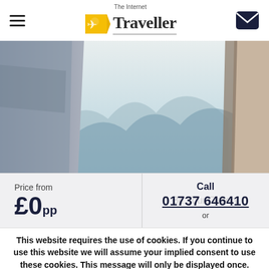The Internet Traveller
[Figure (photo): Mountain landscape viewed through a narrow gap between two rock faces or cliff walls. Bluish-grey layered mountains in the background with hazy sky.]
Price from £0pp
Call 01737 646410 or
This website requires the use of cookies. If you continue to use this website we will assume your implied consent to use these cookies. This message will only be displayed once.